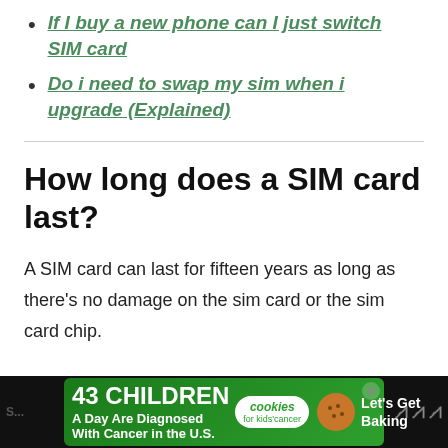If I buy a new phone can I just switch SIM card
Do i need to swap my sim when i upgrade (Explained)
How long does a SIM card last?
A SIM card can last for fifteen years as long as there’s no damage on the sim card or the sim card chip.
[Figure (other): Advertisement banner: 43 Children A Day Are Diagnosed With Cancer in the U.S. - cookies for kids cancer - Let's Get Baking]